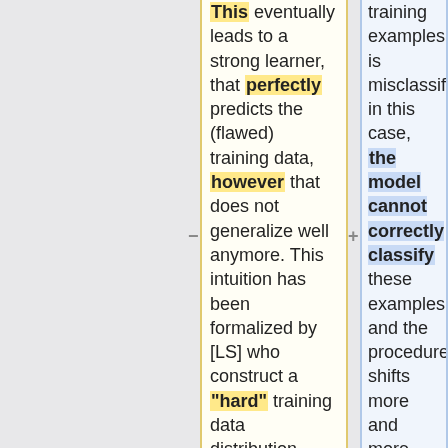This eventually leads to a strong learner, that perfectly predicts the (flawed) training data, however that does not generalize well anymore. This intuition has been formalized by [LS] who construct a "hard" training data distribution, where a small percentage of labels is randomly flipped. This label noise then leads to a significant
training examples is misclassified: in this case, the model cannot correctly classify these examples, and the procedure shifts more and more weight towards these bad examples. It eventually leads to a strong learner that accurately predicts the (flawed) training data; however, that does not generalize well anymore. This